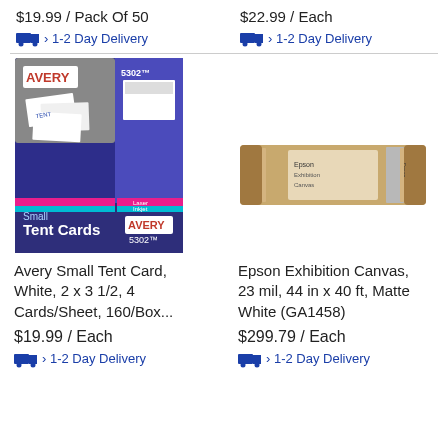$19.99 / Pack Of 50
› 1-2 Day Delivery
$22.99 / Each
› 1-2 Day Delivery
[Figure (photo): Avery Small Tent Cards product box, purple/blue packaging, showing tent card samples, item 5302]
[Figure (photo): Epson Exhibition Canvas roll in beige/cream cardboard tube packaging]
Avery Small Tent Card, White, 2 x 3 1/2, 4 Cards/Sheet, 160/Box...
Epson Exhibition Canvas, 23 mil, 44 in x 40 ft, Matte White (GA1458)
$19.99 / Each
› 1-2 Day Delivery
$299.79 / Each
› 1-2 Day Delivery